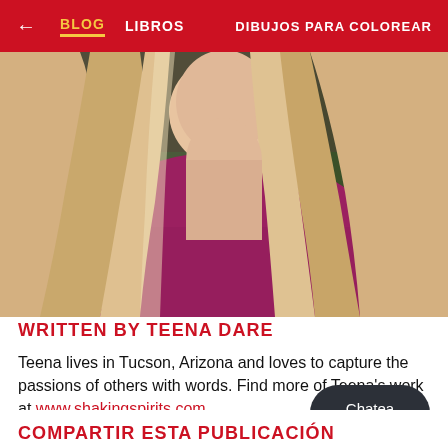← BLOG  LIBROS  DIBUJOS PARA COLOREAR
[Figure (photo): Portrait photo of Teena Dare, a blonde woman wearing a magenta/burgundy top, photographed outdoors with green foliage in the background. Cropped from shoulders up.]
WRITTEN BY TEENA DARE
Teena lives in Tucson, Arizona and loves to capture the passions of others with words. Find more of Teena's work at www.shakingspirits.com.
Chatea con nosotros
COMPARTIR ESTA PUBLICACIÓN